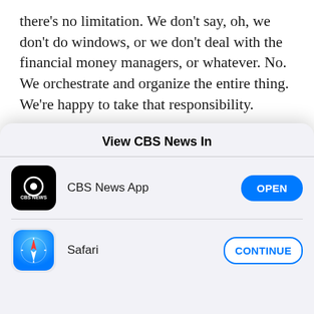there's no limitation. We don't say, oh, we don't do windows, or we don't deal with the financial money managers, or whatever. No. We orchestrate and organize the entire thing. We're happy to take that responsibility.
What's important to point out and it cannot be overstated is that none of the lawyers we've shown you broke any laws in part because the African
View CBS News In
[Figure (screenshot): CBS News App option row with CBS News app icon (black background, eye logo), label 'CBS News App', and blue 'OPEN' button]
[Figure (screenshot): Safari option row with Safari compass icon, label 'Safari', and outlined blue 'CONTINUE' button]